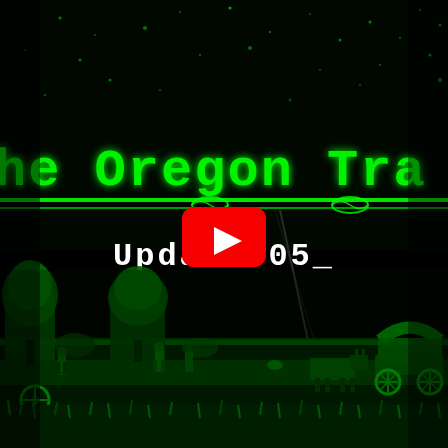[Figure (screenshot): Video thumbnail for 'The Oregon Trail - Update 05_'. Dark black background with green-tinted pixel art game scene. Top portion shows starry night sky with large green pixel-font text reading 'he Oregon Tra' (partially visible, full title 'The Oregon Trail'). A horizontal green decorative banner/divider below the title. White pixel text 'Update 05_' in center. A red YouTube play button overlay in the center. Bottom portion shows green-tinted pixel art landscape with trees, people walking, a cow/ox, a covered wagon, and grass/vegetation. The entire scene has a green monochrome CRT filter aesthetic.]